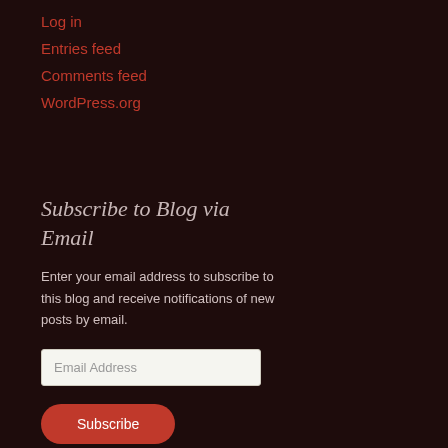Log in
Entries feed
Comments feed
WordPress.org
Subscribe to Blog via Email
Enter your email address to subscribe to this blog and receive notifications of new posts by email.
Email Address
Subscribe